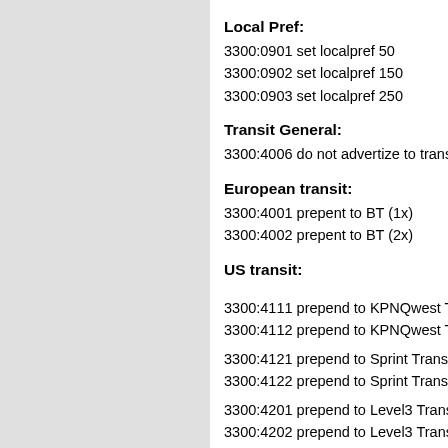Local Pref:
3300:0901 set localpref 50
3300:0902 set localpref 150
3300:0903 set localpref 250
Transit General:
3300:4006 do not advertize to transit
European transit:
3300:4001 prepent to BT (1x)
3300:4002 prepent to BT (2x)
US transit:
3300:4111 prepend to KPNQwest Tra
3300:4112 prepend to KPNQwest Tra
3300:4121 prepend to Sprint Transit (
3300:4122 prepend to Sprint Transit (
3300:4201 prepend to Level3 Transit
3300:4202 prepend to Level3 Transit
3300:4211 prepend to MetroRed Tran
3300:4212 prepend to MetroRed Tran